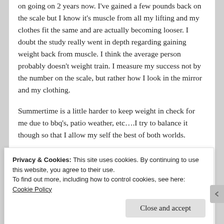on going on 2 years now. I've gained a few pounds back on the scale but I know it's muscle from all my lifting and my clothes fit the same and are actually becoming looser. I doubt the study really went in depth regarding gaining weight back from muscle. I think the average person probably doesn't weight train. I measure my success not by the number on the scale, but rather how I look in the mirror and my clothing.
Summertime is a little harder to keep weight in check for me due to bbq's, patio weather, etc….I try to balance it though so that I allow my self the best of both worlds.
Robin
REPLY
Privacy & Cookies: This site uses cookies. By continuing to use this website, you agree to their use.
To find out more, including how to control cookies, see here:
Cookie Policy
Close and accept